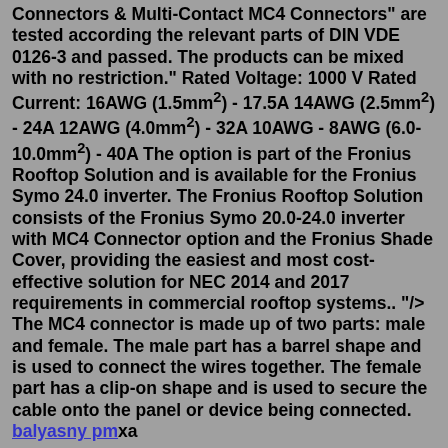Connectors & Multi-Contact MC4 Connectors" are tested according the relevant parts of DIN VDE 0126-3 and passed. The products can be mixed with no restriction." Rated Voltage: 1000 V Rated Current: 16AWG (1.5mm²) - 17.5A 14AWG (2.5mm²) - 24A 12AWG (4.0mm²) - 32A 10AWG - 8AWG (6.0-10.0mm²) - 40A The option is part of the Fronius Rooftop Solution and is available for the Fronius Symo 24.0 inverter. The Fronius Rooftop Solution consists of the Fronius Symo 20.0-24.0 inverter with MC4 Connector option and the Fronius Shade Cover, providing the easiest and most cost-effective solution for NEC 2014 and 2017 requirements in commercial rooftop systems.. "/> The MC4 connector is made up of two parts: male and female. The male part has a barrel shape and is used to connect the wires together. The female part has a clip-on shape and is used to secure the cable onto the panel or device being connected. balyasny pmxa